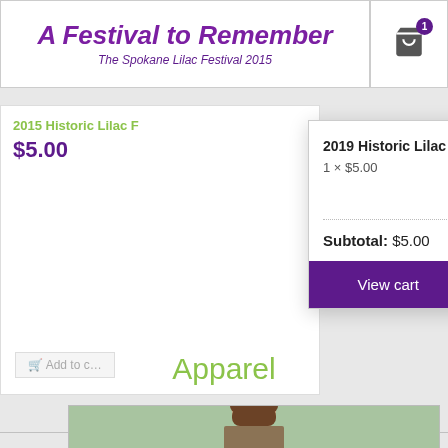A Festival to Remember
The Spokane Lilac Festival 2015
2019 Historic Lilac Festival Pin
1 × $5.00
Subtotal: $5.00
View cart
Checkout
2015 Historic Lilac F…
$5.00
Apparel
[Figure (photo): Smiling young woman with long hair outdoors]